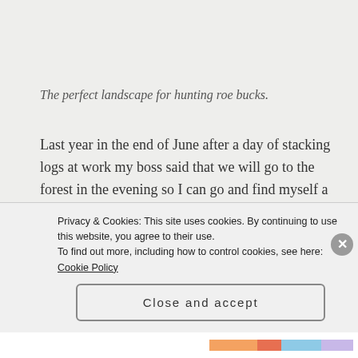The perfect landscape for hunting roe bucks.
Last year in the end of June after a day of stacking logs at work my boss said that we will go to the forest in the evening so I can go and find myself a roe buck... I wasn’t expecting my evening to turn out the way it did. We got to the forest a bit late so I decided to sit in a highseat. I would rather of liked to
Privacy & Cookies: This site uses cookies. By continuing to use this website, you agree to their use.
To find out more, including how to control cookies, see here: Cookie Policy
Close and accept